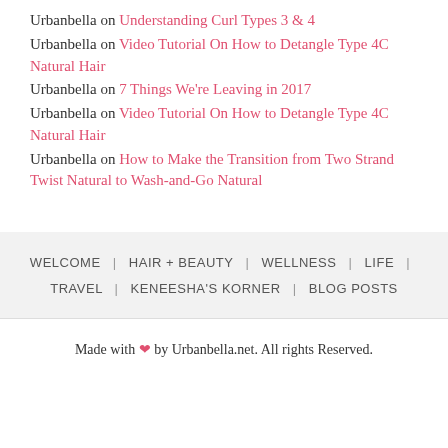Urbanbella on Understanding Curl Types 3 & 4
Urbanbella on Video Tutorial On How to Detangle Type 4C Natural Hair
Urbanbella on 7 Things We're Leaving in 2017
Urbanbella on Video Tutorial On How to Detangle Type 4C Natural Hair
Urbanbella on How to Make the Transition from Two Strand Twist Natural to Wash-and-Go Natural
WELCOME | HAIR + BEAUTY | WELLNESS | LIFE | TRAVEL | KENEESHA'S KORNER | BLOG POSTS
Made with ❤ by Urbanbella.net. All rights Reserved.